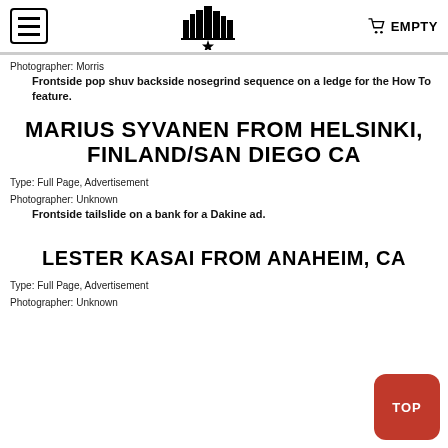EMPTY
Photographer: Morris
Frontside pop shuv backside nosegrind sequence on a ledge for the How To feature.
MARIUS SYVANEN FROM HELSINKI, FINLAND/SAN DIEGO CA
Type: Full Page, Advertisement
Photographer: Unknown
Frontside tailslide on a bank for a Dakine ad.
LESTER KASAI FROM ANAHEIM, CA
Type: Full Page, Advertisement
Photographer: Unknown